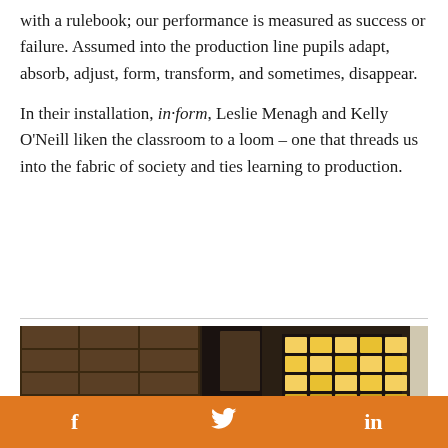with a rulebook; our performance is measured as success or failure. Assumed into the production line pupils adapt, absorb, adjust, form, transform, and sometimes, disappear.

In their installation, in·form, Leslie Menagh and Kelly O'Neill liken the classroom to a loom – one that threads us into the fabric of society and ties learning to production.
[Figure (photo): Interior photograph of a room or installation with wooden shelving units on the left side and a glowing illuminated grid structure in the center, dim lighting overall.]
f  [twitter bird]  in